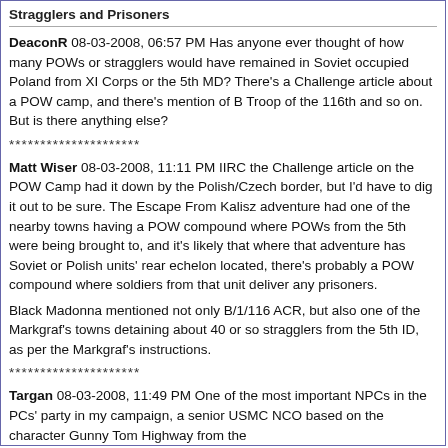Stragglers and Prisoners
DeaconR 08-03-2008, 06:57 PM Has anyone ever thought of how many POWs or stragglers would have remained in Soviet occupied Poland from XI Corps or the 5th MD? There's a Challenge article about a POW camp, and there's mention of B Troop of the 116th and so on. But is there anything else?
*********************
Matt Wiser 08-03-2008, 11:11 PM IIRC the Challenge article on the POW Camp had it down by the Polish/Czech border, but I'd have to dig it out to be sure. The Escape From Kalisz adventure had one of the nearby towns having a POW compound where POWs from the 5th were being brought to, and it's likely that where that adventure has Soviet or Polish units' rear echelon located, there's probably a POW compound where soldiers from that unit deliver any prisoners.
Black Madonna mentioned not only B/1/116 ACR, but also one of the Markgraf's towns detaining about 40 or so stragglers from the 5th ID, as per the Markgraf's instructions.
*********************
Targan 08-03-2008, 11:49 PM One of the most important NPCs in the PCs' party in my campaign, a senior USMC NCO based on the character Gunny Tom Highway from the